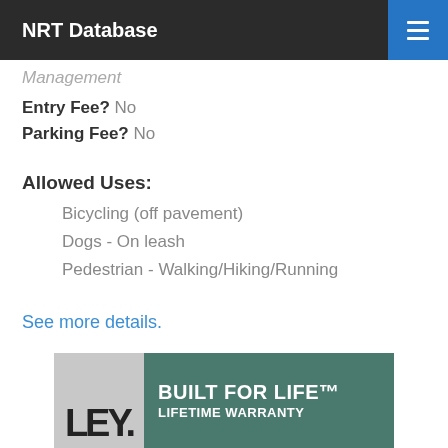NRT Database
Management
Entry Fee? No
Parking Fee? No
Allowed Uses:
Bicycling (off pavement)
Dogs - On leash
Pedestrian - Walking/Hiking/Running
See more details.
[Figure (photo): Advertisement banner showing 'BUILT FOR LIFE™ LIFETIME WARRANTY' text on outdoor background with partial brand name LEY visible]